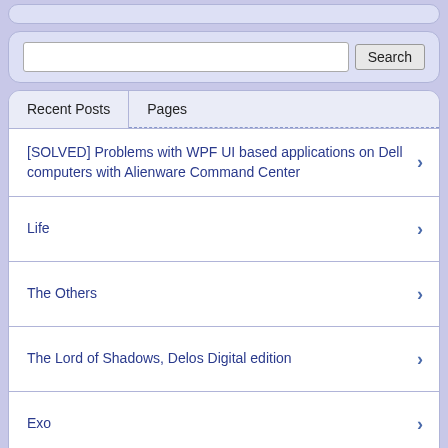[Figure (screenshot): Partial top widget box, cropped at top of page]
[Figure (screenshot): Search box with text input field and Search button, inside a rounded blue-tinted panel]
Recent Posts
Pages
[SOLVED] Problems with WPF UI based applications on Dell computers with Alienware Command Center
Life
The Others
The Lord of Shadows, Delos Digital edition
Exo
Thought (61)
Thought (88)